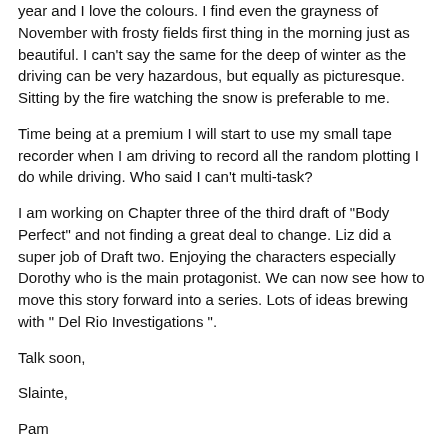year and I love the colours. I find even the grayness of November with frosty fields first thing in the morning just as beautiful. I can't say the same for the deep of winter as the driving can be very hazardous, but equally as picturesque. Sitting by the fire watching the snow is preferable to me.
Time being at a premium I will start to use my small tape recorder when I am driving to record all the random plotting I do while driving. Who said I can't multi-task?
I am working on Chapter three of the third draft of "Body Perfect" and not finding a great deal to change. Liz did a super job of Draft two. Enjoying the characters especially Dorothy who is the main protagonist. We can now see how to move this story forward into a series. Lots of ideas brewing with " Del Rio Investigations ".
Talk soon,
Slainte,
Pam